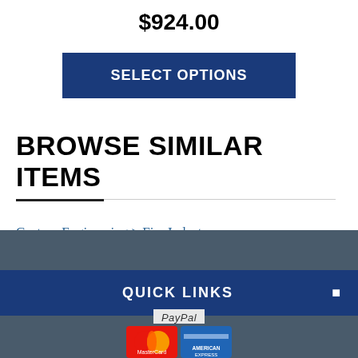$924.00
SELECT OPTIONS
BROWSE SIMILAR ITEMS
Custom Engineering > Fire Industry
QUICK LINKS
[Figure (logo): PayPal payment logos showing MasterCard and American Express cards]